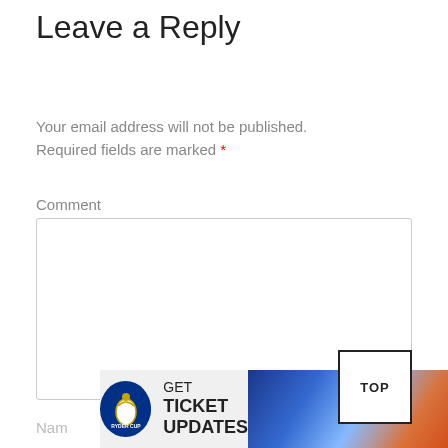Leave a Reply
Your email address will not be published. Required fields are marked *
Comment
[Figure (screenshot): Empty comment text area input box with resize handle]
Nam
[Figure (screenshot): TOP button - back to top navigation button]
[Figure (infographic): Ryder Cup advertisement banner: GET TICKET UPDATES with Ryder Cup logo and golf players photo]